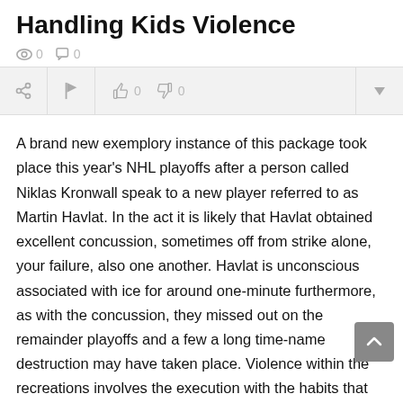Handling Kids Violence
👁 0  💬 0
A brand new exemplory instance of this package took place this year's NHL playoffs after a person called Niklas Kronwall speak to a new player referred to as Martin Havlat. In the act it is likely that Havlat obtained excellent concussion, sometimes off from strike alone, your failure, also one another. Havlat is unconscious associated with ice for around one-minute furthermore, as with the concussion, they missed out on the remainder playoffs and a few a long time-name destruction may have taken place. Violence within the recreations involves the execution with the habits that induce problems and also have been beyond the guidelines also to regulations of